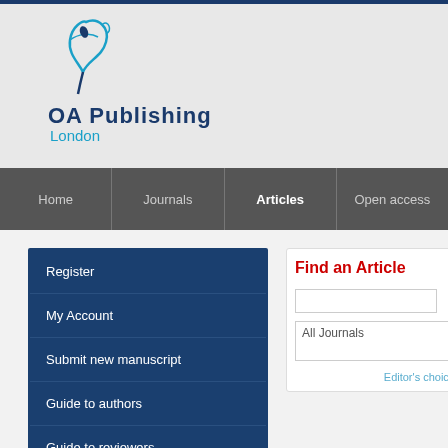[Figure (logo): OA Publishing London logo with stylized bird/feather icon in teal and navy blue]
Home | Journals | Articles | Open access
Register
My Account
Submit new manuscript
Guide to authors
Guide to reviewers
Find an Article
All Journals
Editor's choice